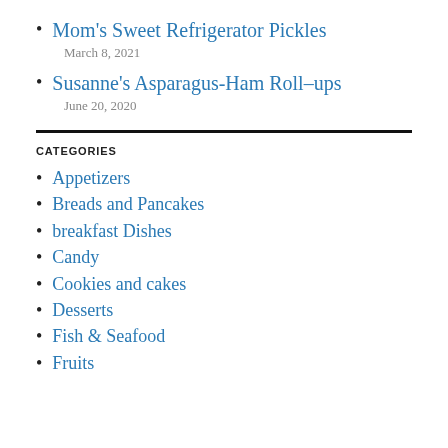Mom's Sweet Refrigerator Pickles
March 8, 2021
Susanne's Asparagus-Ham Roll–ups
June 20, 2020
CATEGORIES
Appetizers
Breads and Pancakes
breakfast Dishes
Candy
Cookies and cakes
Desserts
Fish & Seafood
Fruits